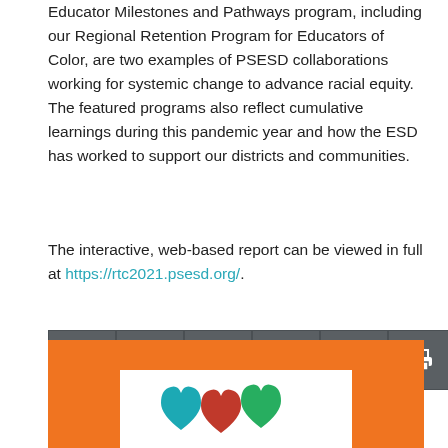Educator Milestones and Pathways program, including our Regional Retention Program for Educators of Color, are two examples of PSESD collaborations working for systemic change to advance racial equity.  The featured programs also reflect cumulative learnings during this pandemic year and how the ESD has worked to support our districts and communities.
The interactive, web-based report can be viewed in full at https://rtc2021.psesd.org/.
[Figure (other): Social media sharing buttons: Facebook, Twitter, LinkedIn, Pinterest, Email, Print]
[Figure (illustration): Orange background card with white inner panel showing colorful heart/house icons in teal, red, and green]